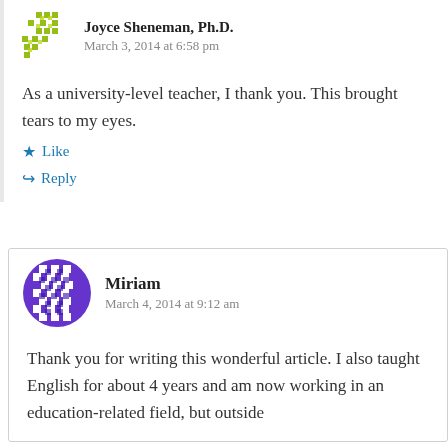Joyce Sheneman, Ph.D.
March 3, 2014 at 6:58 pm
As a university-level teacher, I thank you. This brought tears to my eyes.
Like
Reply
Miriam
March 4, 2014 at 9:12 am
Thank you for writing this wonderful article. I also taught English for about 4 years and am now working in an education-related field, but outside